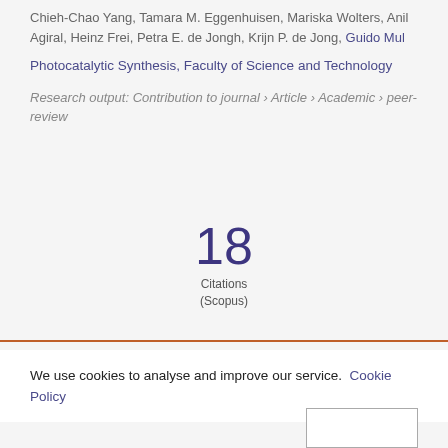Chieh-Chao Yang, Tamara M. Eggenhuisen, Mariska Wolters, Anil Agiral, Heinz Frei, Petra E. de Jongh, Krijn P. de Jong, Guido Mul
Photocatalytic Synthesis, Faculty of Science and Technology
Research output: Contribution to journal › Article › Academic › peer-review
18
Citations
(Scopus)
We use cookies to analyse and improve our service. Cookie Policy